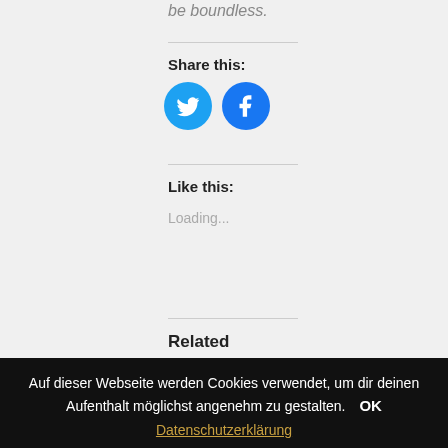be boundless.
Share this:
[Figure (other): Twitter and Facebook share icon buttons]
Like this:
Loading...
Related
gentle breeze loans
January 20, 2022
southwest financial loan near me
Auf dieser Webseite werden Cookies verwendet, um dir deinen Aufenthalt möglichst angenehm zu gestalten. OK
Datenschutzerklärung